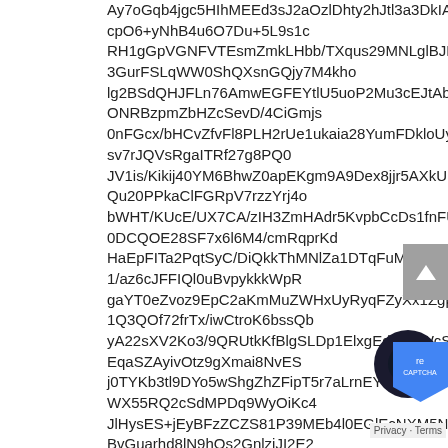Ay7oGqb4jgc5HIhMEEd3sJ2aOzlDhty2hJtl3a3DkIAbB2amMrl3FV
cpO6+yNhB4u6O7Du+5L9s1c
RH1gGpVGNFVTEsmZmkLHbb/TXqus29MNLglBJFQRr1SY0asdO
3GurFSLqWW0ShQXsnGQjy7M4kho
lg2BSdQHJFLn76AmwEGFEYtlU5uoP2Mu3cEJtAbHU23MUTai1liI
ONRBzpmZbHZcSevD/4CiGmjs
0nFGcx/bHCvZfvFl8PLH2rUe1ukaia28YumFDkloUyXJLad3THunlj
sv7rJQVsRgaITRf27g8PQ0
JV1is/Kikij40YM6BhwZ0apEKgm9A9Dex8jjr5AXkUSDEUdnQDlH
Qu20PPkaClFGRpV7rzzYrj4o
bWHT/KUcE/UX7CA/zIH3ZmHAdr5KvpbCcDs1fnFURKayL+ZyaO
0DCQOE28SF7x6l6M4/cmRqprKd
HaEpFITa2PqtSyC/DiQkkThMNlZa1DTqFuMKLuSZ/LZMgplw+SEA
1/az6cJFFIQl0uBvpykkkWpR
gaYT0eZvoz9EpC2aKmMuZWHxUyRyqFZyXx1ZgpNS26DFz6BE8
1Q3QOf72frTx/iwCtroK6bssQb
yA22sXV2Ko3/9QRUtkKfBlgSLDp1ElxgEdrJLeWcSh5uTAfPCmhJi
EqaSZAyivOtz9gXmai8NvES
j0TYKb3tl9DYo5wShgZhZFipT5r7aLrnEY5PTaEpUFScjYOzF8h
WX55RQ2cSdMPDq9WyOiKc4
JlHysES+jEyBFzZCZS81P39MEb4l0EGlEcNXM5Ng424dh0p
BvGuarhd8lN9hOs2GnlziJI2E2
8e59D7cH1...
[Figure (other): Scroll-to-top button (gray square with up arrow)]
[Figure (other): WhatsApp chat icon (dark circle with WhatsApp logo)]
[Figure (other): reCAPTCHA badge (blue shield with reCAPTCHA branding)]
Privacy · Terms